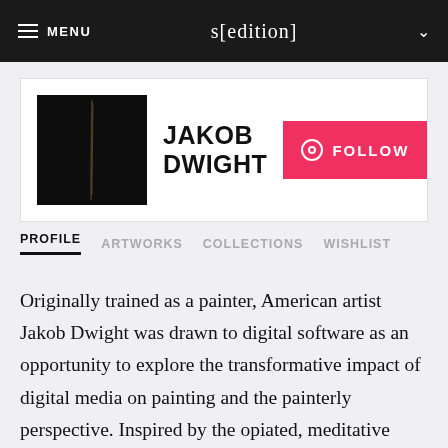MENU  s[edition]
[Figure (photo): Black artwork thumbnail photo of Jakob Dwight]
JAKOB DWIGHT
FOLLOW
PROFILE  ARTWORKS  COLLECTIONS  WISHLIST
Originally trained as a painter, American artist Jakob Dwight was drawn to digital software as an opportunity to explore the transformative impact of digital media on painting and the painterly perspective. Inspired by the opiated, meditative quality of the screen-based televisual space, the artist saw the